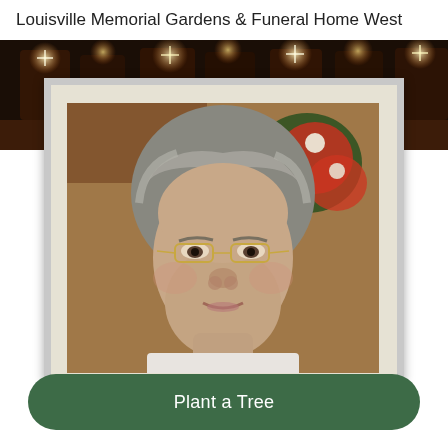Louisville Memorial Gardens & Funeral Home West
[Figure (photo): Dark background banner with warm bokeh lights and blurred rectangular shapes, creating a memorial ambiance]
[Figure (photo): Portrait photo of an elderly woman with short gray hair, wearing thin-framed glasses, slight smile, framed in a white/cream mat frame with gray border]
Plant a Tree